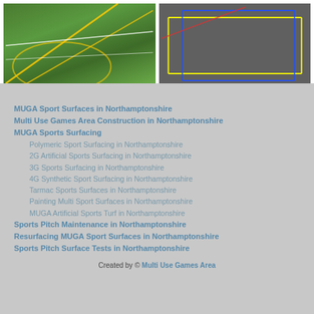[Figure (photo): Two sports surface photos side by side: left shows green artificial turf with yellow and white line markings; right shows grey tarmac surface with yellow, blue, and red line markings]
MUGA Sport Surfaces in Northamptonshire
Multi Use Games Area Construction in Northamptonshire
MUGA Sports Surfacing
Polymeric Sport Surfacing in Northamptonshire
2G Artificial Sports Surfacing in Northamptonshire
3G Sports Surfacing in Northamptonshire
4G Synthetic Sport Surfacing in Northamptonshire
Tarmac Sports Surfaces in Northamptonshire
Painting Multi Sport Surfaces in Northamptonshire
MUGA Artificial Sports Turf in Northamptonshire
Sports Pitch Maintenance in Northamptonshire
Resurfacing MUGA Sport Surfaces in Northamptonshire
Sports Pitch Surface Tests in Northamptonshire
Created by © Multi Use Games Area